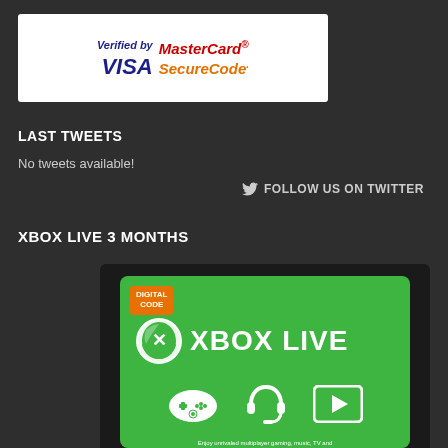[Figure (logo): Verified by VISA and MasterCard SecureCode co-branded logo on white background]
LAST TWEETS
No tweets available!
FOLLOW US ON TWITTER
XBOX LIVE 3 MONTHS
[Figure (photo): Xbox Live 3 Month Digital Code card with green background showing Xbox logo, controller icon, headset icon, and play button icon. Text reads DIGITAL CODE and XBOX LIVE.]